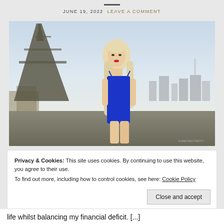JUNE 19, 2022  LEAVE A COMMENT
[Figure (illustration): Illustrated/rendered image of a blonde woman in a blue dress standing in front of the Eiffel Tower with Paris skyline in the background.]
Privacy & Cookies: This site uses cookies. By continuing to use this website, you agree to their use.
To find out more, including how to control cookies, see here: Cookie Policy
Close and accept
life whilst balancing my financial deficit. [...]